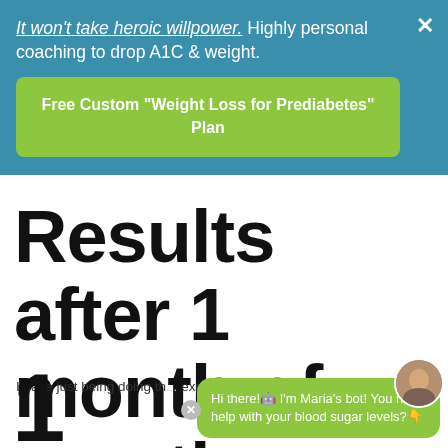It won't take heroic willpower. Highly personal coaching to drop A1C & weight.
Free Custom "Weight Loss for Prediabetes" Plan
Results after 1 month of practice.
I have just being doing th... experienced results:
Hi there!🤖 I'm Maria's bot! You need help with your blood sugar levels?👇